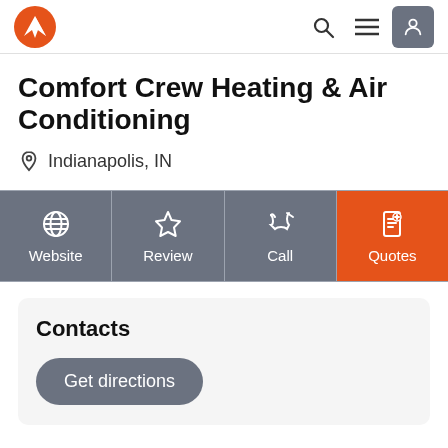Comfort Crew Heating & Air Conditioning — site header with logo and nav icons
Comfort Crew Heating & Air Conditioning
Indianapolis, IN
[Figure (infographic): Four action buttons: Website (globe icon), Review (star icon), Call (phone icon), Quotes (document icon, highlighted orange)]
Contacts
Get directions